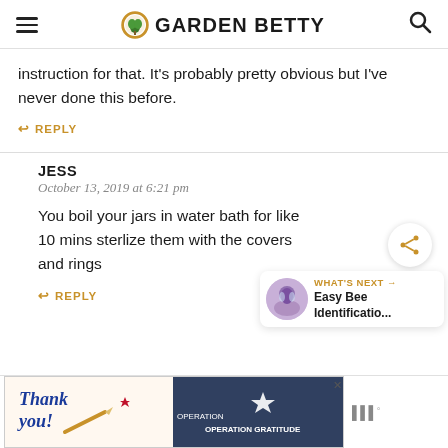GARDEN BETTY
instruction for that. It's probably pretty obvious but I've never done this before.
REPLY
JESS
October 13, 2019 at 6:21 pm
You boil your jars in water bath for like 10 mins sterlize them with the covers and rings
REPLY
[Figure (other): Advertisement banner with Operation Gratitude firefighter image and thank you text]
[Figure (other): Weather widget showing temperature]